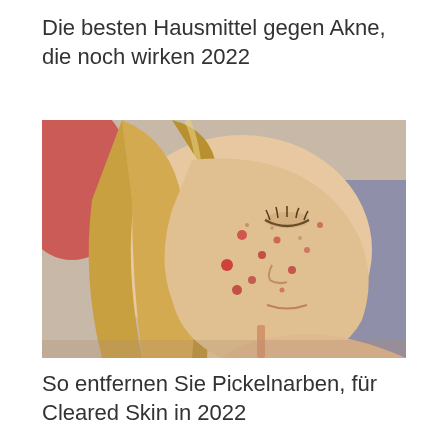Die besten Hausmittel gegen Akne, die noch wirken 2022
[Figure (photo): Close-up photo of a young blonde woman looking downward, with visible acne and pimple marks on her cheek and face, wearing a thin-strap top. Background is blurred with red and blue elements.]
So entfernen Sie Pickelnarben, für Cleared Skin in 2022